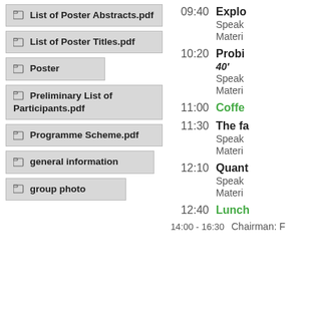List of Poster Abstracts.pdf
List of Poster Titles.pdf
Poster
Preliminary List of Participants.pdf
Programme Scheme.pdf
general information
group photo
09:40  Explo...
Speaker...
Material...
10:20  Probi...
40'
Speaker...
Material...
11:00  Coffee...
11:30  The fa...
Speaker...
Material...
12:10  Quant...
Speaker...
Material...
12:40  Lunch...
14:00 - 16:30  Chairman: F...